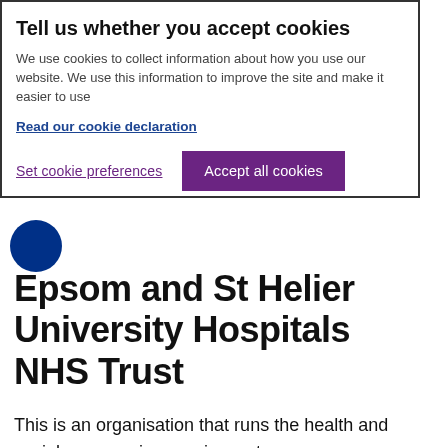Tell us whether you accept cookies
We use cookies to collect information about how you use our website. We use this information to improve the site and make it easier to use
Read our cookie declaration
Set cookie preferences
Accept all cookies
Epsom and St Helier University Hospitals NHS Trust
This is an organisation that runs the health and social care services we inspect